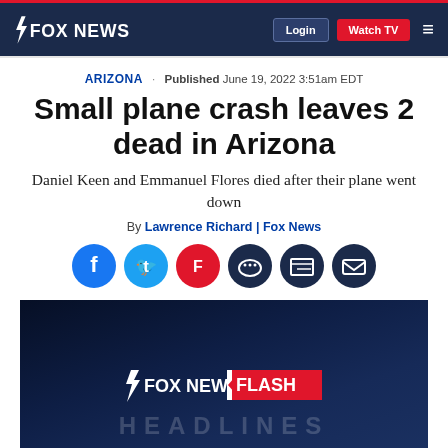FOX NEWS | Login | Watch TV
ARIZONA · Published June 19, 2022 3:51am EDT
Small plane crash leaves 2 dead in Arizona
Daniel Keen and Emmanuel Flores died after their plane went down
By Lawrence Richard | Fox News
[Figure (screenshot): Fox News Flash Headlines video thumbnail with dark blue gradient background]
[Figure (infographic): Social sharing icons: Facebook, Twitter, Flipboard, Comments, Print, Email]